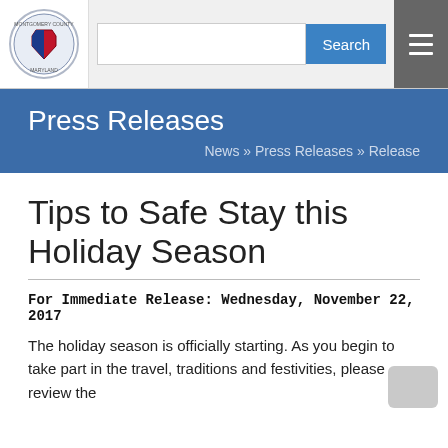Montgomery County [logo] | Search | Navigation menu
Press Releases
News » Press Releases » Release
Tips to Safe Stay this Holiday Season
For Immediate Release: Wednesday, November 22, 2017
The holiday season is officially starting. As you begin to take part in the travel, traditions and festivities, please review the